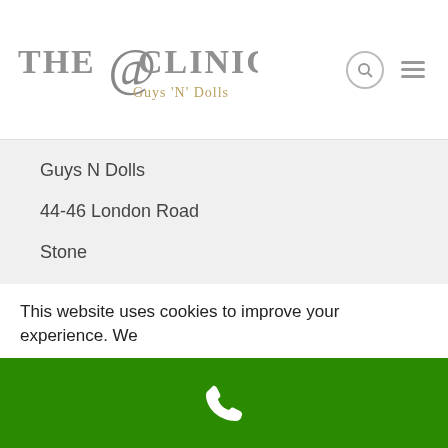[Figure (logo): The Clinic @ Guys N Dolls logo with stylized text and @ symbol]
Guys N Dolls
44-46 London Road
Stone
Dartford
Kent
DA2 6DJ
T: 01322 272330
[Figure (illustration): Social media icons: Facebook, Twitter, YouTube, Instagram]
This website uses cookies to improve your experience. We
[Figure (illustration): Green bar with white phone icon at bottom of page]